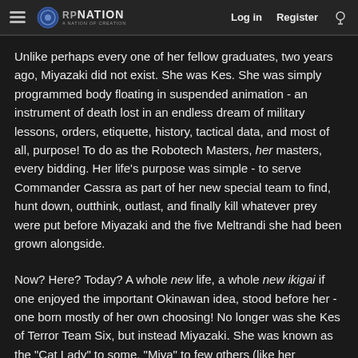≡ RPNATION A NATION OF CREATION   Log in   Register
Unlike perhaps every one of her fellow graduates, two years ago, Miyazaki did not exist. She was Kes. She was simply programmed body floating in suspended animation - an instrument of death lost in an endless dream of military lessons, orders, etiquette, history, tactical data, and most of all, purpose! To do as the Robotech Masters, her masters, every bidding. Her life's purpose was simple - to serve Commander Cassra as part of her new special team to find, hunt down, outthink, outlast, and finally kill whatever prey were put before Miyazaki and the five Meltrandi she had been grown alongside.
Now? Here? Today? A whole new life, a whole new ikigai if one enjoyed the important Okinawan idea, stood before her - one born mostly of her own choosing! No longer was she Kes of Terror Team Six, but instead Miyazaki. She was known as the "Cat Lady" to some, "Miya" to few others (like her squadmates), or "that brainy cute chick who serves